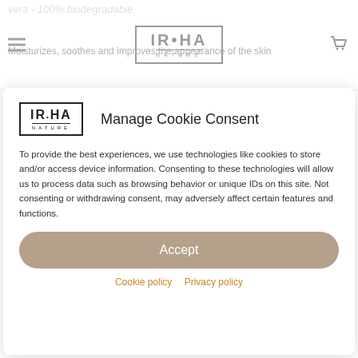IROHA NATURE
vera - 100% biodegradable
Moisturizes, soothes and improves the appearance of the skin
★★★★★ (3 customer reviews)
$6.00
1  ADD TO CART
[Figure (logo): IROHA NATURE logo in a rectangle border]
Manage Cookie Consent
To provide the best experiences, we use technologies like cookies to store and/or access device information. Consenting to these technologies will allow us to process data such as browsing behavior or unique IDs on this site. Not consenting or withdrawing consent, may adversely affect certain features and functions.
Accept
Cookie policy   Privacy policy